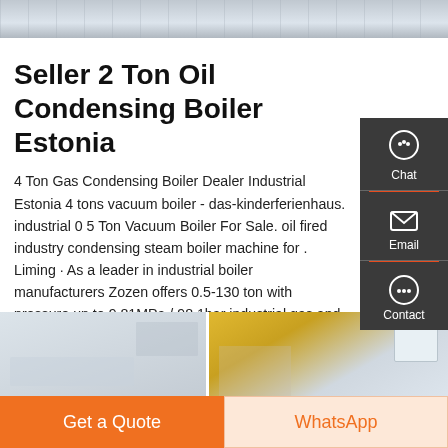[Figure (photo): Top banner image showing industrial boiler equipment]
Seller 2 Ton Oil Condensing Boiler Estonia
4 Ton Gas Condensing Boiler Dealer Industrial Estonia 4 tons vacuum boiler - das-kinderferienhaus. industrial 0 5 Ton Vacuum Boiler For Sale. oil fired industry condensing steam boiler machine for . Liming · As a leader in industrial boiler manufacturers Zozen offers 0.5-130 ton with pressure up to 9.81MPa / 98.1bar industrial gas and oil steam boilers hot water …
[Figure (screenshot): Sidebar with Chat, Email, and Contact icons on dark background]
GET A QUOTE
[Figure (photo): Bottom banner showing boiler equipment images]
Get a Quote
WhatsApp